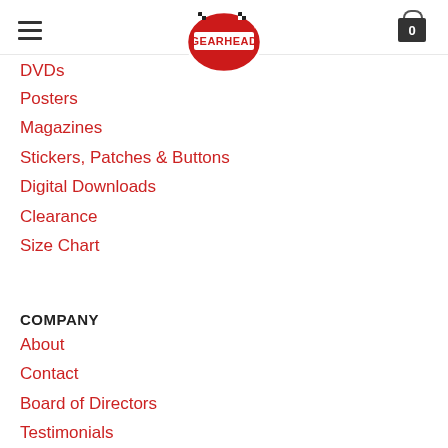Gearhead — navigation header with hamburger menu, logo, and cart icon
DVDs (partial, clipped)
Posters
Magazines
Stickers, Patches & Buttons
Digital Downloads
Clearance
Size Chart
COMPANY
About
Contact
Board of Directors
Testimonials
Calendar of Events
Mission Statement (partial, clipped)